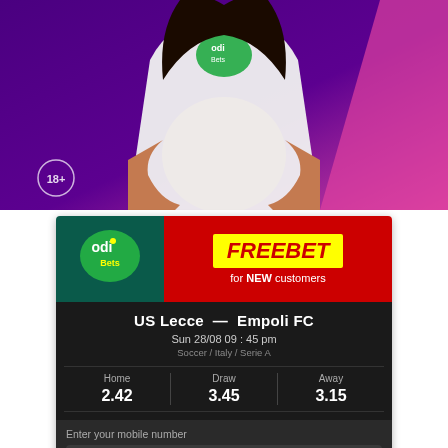[Figure (photo): Woman wearing white hoodie with Odi Bets logo, pregnant belly visible, purple and magenta background. 18+ badge in bottom left.]
[Figure (infographic): Odi Bets advertisement card showing FREEBET for NEW customers, match US Lecce vs Empoli FC on Sun 28/08 09:45 pm, Soccer/Italy/Serie A. Odds: Home 2.42, Draw 3.45, Away 3.15. Mobile number input field with placeholder 07xxxxxxxx or 01xxxxxxxx.]